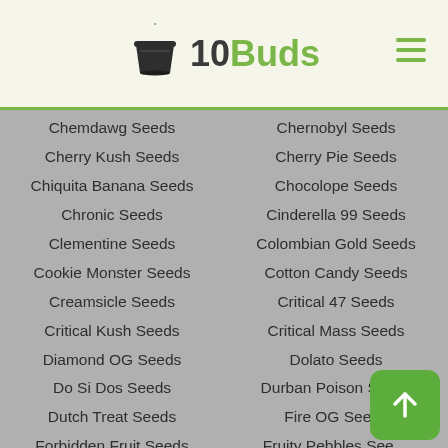[Figure (logo): 10Buds logo with cannabis leaf icon above a pot/cup shape, with hamburger menu icon in top right]
Chemdawg Seeds
Chernobyl Seeds
Cherry Kush Seeds
Cherry Pie Seeds
Chiquita Banana Seeds
Chocolope Seeds
Chronic Seeds
Cinderella 99 Seeds
Clementine Seeds
Colombian Gold Seeds
Cookie Monster Seeds
Cotton Candy Seeds
Creamsicle Seeds
Critical 47 Seeds
Critical Kush Seeds
Critical Mass Seeds
Diamond OG Seeds
Dolato Seeds
Do Si Dos Seeds
Durban Poison Seeds
Dutch Treat Seeds
Fire OG Seeds
Forbidden Fruit Seeds
Fruity Pebbles Seeds
Gelato Seeds
Ghost Train Haze Seeds
Ghost OG Seeds
Girl Scout Cookies Seeds
GMO Cookies Seeds
Godfather OG Seeds